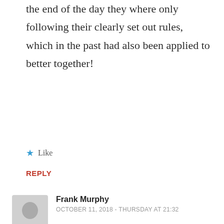the end of the day they where only following their clearly set out rules, which in the past had also been applied to better together!
★ Like
REPLY
Frank Murphy
OCTOBER 11, 2018 - THURSDAY AT 21:32
I think it sets a dangerous precedent to those of other views. They may choose to try and enjoy the same grace give to this rally to march and rally wherever they like by dint of force of numbers.